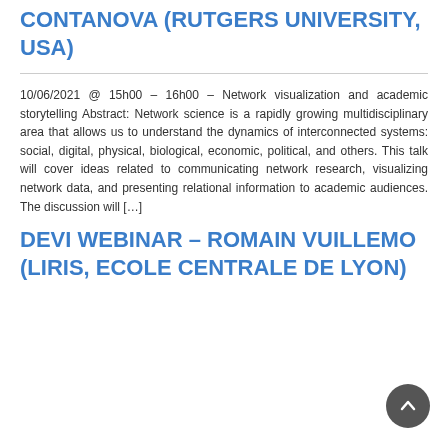CONTANOVA (RUTGERS UNIVERSITY, USA)
10/06/2021 @ 15h00 – 16h00 – Network visualization and academic storytelling Abstract: Network science is a rapidly growing multidisciplinary area that allows us to understand the dynamics of interconnected systems: social, digital, physical, biological, economic, political, and others. This talk will cover ideas related to communicating network research, visualizing network data, and presenting relational information to academic audiences. The discussion will […]
DEVI WEBINAR – ROMAIN VUILLEMO (LIRIS, ECOLE CENTRALE DE LYON)